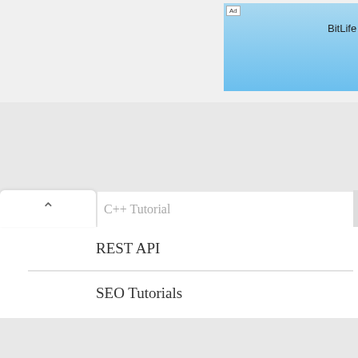[Figure (screenshot): BitLife - Life S advertisement banner with baby cartoon and red logo area]
REST API
SEO Tutorials
Technology
Ubuntu
Ubuntu Tutorials